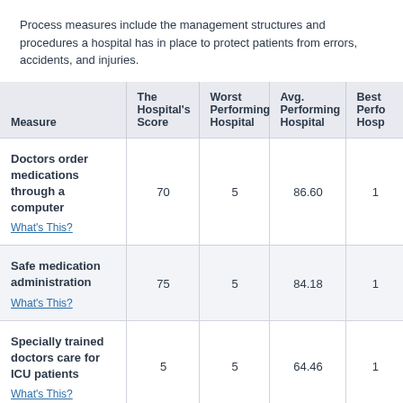Process measures include the management structures and procedures a hospital has in place to protect patients from errors, accidents, and injuries.
| Measure | The Hospital's Score | Worst Performing Hospital | Avg. Performing Hospital | Best Performing Hospital |
| --- | --- | --- | --- | --- |
| Doctors order medications through a computer
What's This? | 70 | 5 | 86.60 | 1 |
| Safe medication administration
What's This? | 75 | 5 | 84.18 | 1 |
| Specially trained doctors care for ICU patients
What's This? | 5 | 5 | 64.46 | 1 |
| Effective leadership... |  |  |  |  |